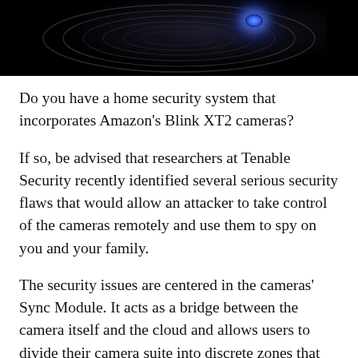[Figure (photo): Dark background photo with spiral rings and a blue glowing light element, partial view of a camera or tech device]
Do you have a home security system that incorporates Amazon's Blink XT2 cameras?
If so, be advised that researchers at Tenable Security recently identified several serious security flaws that would allow an attacker to take control of the cameras remotely and use them to spy on you and your family.
The security issues are centered in the cameras' Sync Module. It acts as a bridge between the camera itself and the cloud and allows users to divide their camera suite into discrete zones that cover